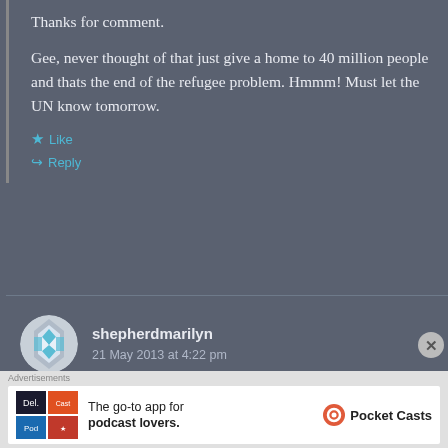Thanks for comment.
Gee, never thought of that just give a home to 40 million people and thats the end of the refugee problem. Hmmm! Must let the UN know tomorrow.
★ Like
↪ Reply
shepherdmarilyn
21 May 2013 at 4:22 pm
[Figure (photo): WordPress avatar icon with geometric diamond/cross pattern in teal and white]
Advertisements
[Figure (infographic): Pocket Casts podcast app advertisement with colorful logo tiles and text: The go-to app for podcast lovers.]